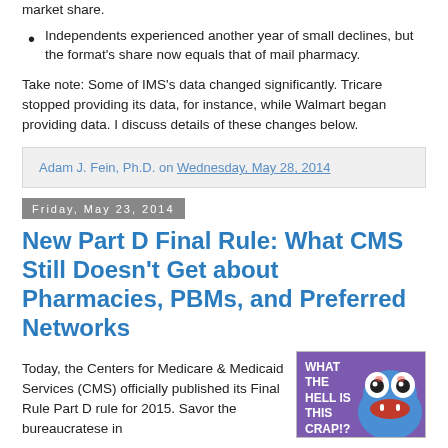market share.
Independents experienced another year of small declines, but the format's share now equals that of mail pharmacy.
Take note: Some of IMS's data changed significantly. Tricare stopped providing its data, for instance, while Walmart began providing data. I discuss details of these changes below.
Adam J. Fein, Ph.D. on Wednesday, May 28, 2014
Friday, May 23, 2014
New Part D Final Rule: What CMS Still Doesn't Get about Pharmacies, PBMs, and Preferred Networks
Today, the Centers for Medicare & Medicaid Services (CMS) officially published its Final Rule Part D rule for 2015. Savor the bureaucratese in
[Figure (photo): Cookie Monster image with text overlay reading 'WHAT THE HELL IS THIS CRAP!?']